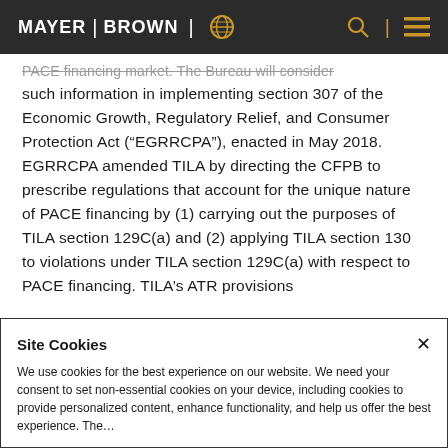MAYER | BROWN
PACE financing market. The Bureau will consider such information in implementing section 307 of the Economic Growth, Regulatory Relief, and Consumer Protection Act (“EGRRCPA”), enacted in May 2018.  EGRRCPA amended TILA by directing the CFPB to prescribe regulations that account for the unique nature of PACE financing by (1) carrying out the purposes of TILA section 129C(a) and (2) applying TILA section 130 to violations under TILA section 129C(a) with respect to PACE financing. TILA’s ATR provisions
Site Cookies
We use cookies for the best experience on our website. We need your consent to set non-essential cookies on your device, including cookies to provide personalized content, enhance functionality, and help us offer the best experience. These